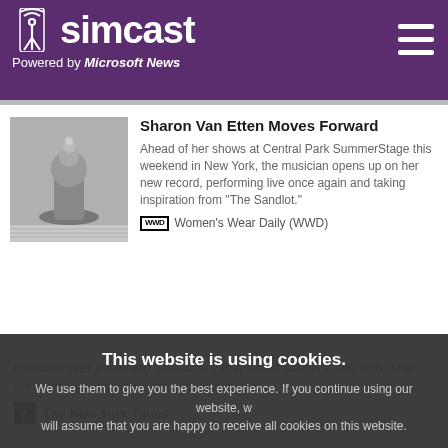simcast — Powered by Microsoft News
Sharon Van Etten Moves Forward
Ahead of her shows at Central Park SummerStage this weekend in New York, the musician opens up on her new record, performing live once again and taking inspiration from "The Sandlot."
Women's Wear Daily (WWD)
This website is using cookies.
We use them to give you the best experience. If you continue using our website, we will assume that you are happy to receive all cookies on this website.
tensions over the island democracy that China claims as its own. The announcement marks a step toward a pact...
The New York Times